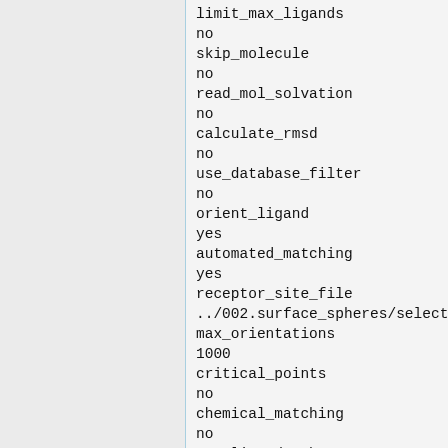limit_max_ligands
no
skip_molecule
no
read_mol_solvation
no
calculate_rmsd
no
use_database_filter
no
orient_ligand
yes
automated_matching
yes
receptor_site_file
../002.surface_spheres/selected
max_orientations
1000
critical_points
no
chemical_matching
no
use_ligand_spheres
no
bump filter